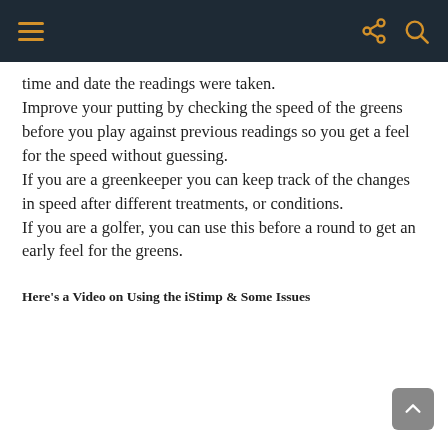time and date the readings were taken. Improve your putting by checking the speed of the greens before you play against previous readings so you get a feel for the speed without guessing. If you are a greenkeeper you can keep track of the changes in speed after different treatments, or conditions. If you are a golfer, you can use this before a round to get an early feel for the greens.
Here's a Video on Using the iStimp & Some Issues